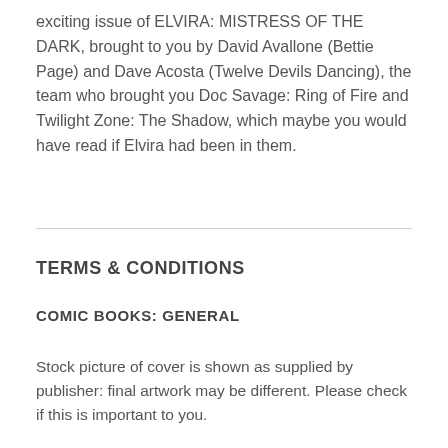exciting issue of ELVIRA: MISTRESS OF THE DARK, brought to you by David Avallone (Bettie Page) and Dave Acosta (Twelve Devils Dancing), the team who brought you Doc Savage: Ring of Fire and Twilight Zone: The Shadow, which maybe you would have read if Elvira had been in them.
TERMS & CONDITIONS
COMIC BOOKS: GENERAL
Stock picture of cover is shown as supplied by publisher: final artwork may be different. Please check if this is important to you.